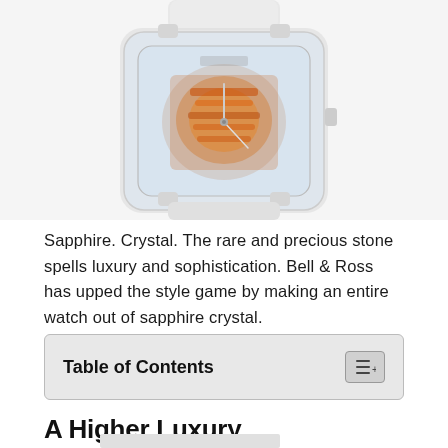[Figure (photo): Close-up photo of a Bell & Ross luxury watch with a transparent sapphire crystal case revealing colorful orange and red mechanical movement inside, on a white background with white strap.]
Sapphire. Crystal. The rare and precious stone spells luxury and sophistication. Bell & Ross has upped the style game by making an entire watch out of sapphire crystal.
Table of Contents
A Higher Luxury
[Figure (photo): Partial view of another luxury watch image at the bottom of the page, cropped.]